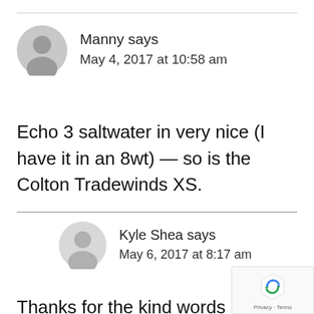Manny says
May 4, 2017 at 10:58 am
Echo 3 saltwater in very nice (I have it in an 8wt) — so is the Colton Tradewinds XS.
Kyle Shea says
May 6, 2017 at 8:17 am
Thanks for the kind words Brian!